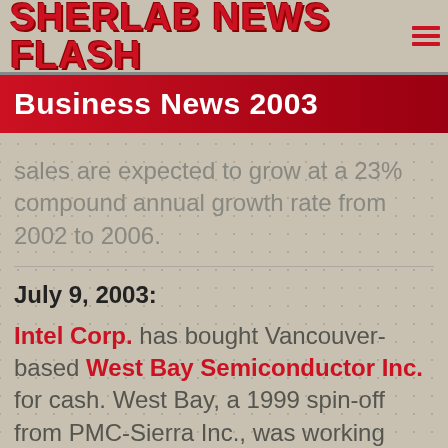Sherlab News Flash
Business News 2003
sales are expected to grow at a 23% compound annual growth rate from 2002 to 2006.
July 9, 2003: Intel Corp. has bought Vancouver-based West Bay Semiconductor Inc. for cash. West Bay, a 1999 spin-off from PMC-Sierra Inc., was working